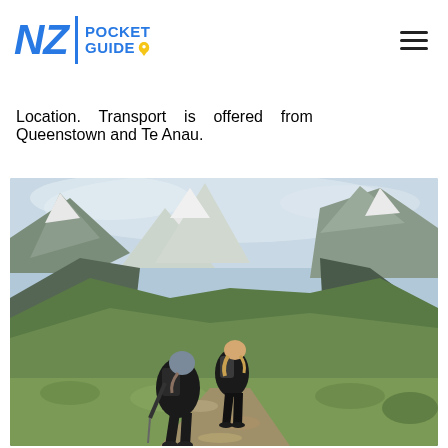NZ Pocket Guide
Location. Transport is offered from Queenstown and Te Anau.
[Figure (photo): Two hikers with backpacks walking along a rocky trail through lush green alpine meadow with dramatic snow-capped mountains and a valley in the background, New Zealand.]